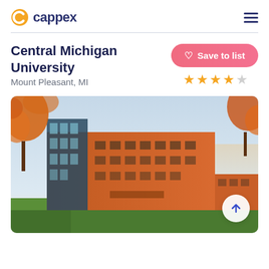cappex
Central Michigan University
Mount Pleasant, MI
Save to list
[Figure (photo): Exterior photo of a modern brick university building with glass facade and autumn foliage in foreground, taken at sunset with green lawn in front]